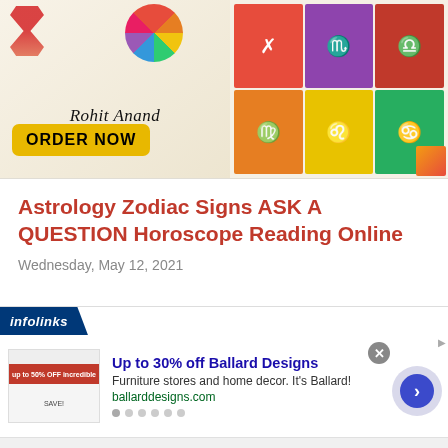[Figure (illustration): Astrology/zodiac banner ad featuring 'Rohit Anand ORDER NOW' button on the left with hourglass and zodiac wheel graphics, and a grid of colorful zodiac symbol tiles on the right]
Astrology Zodiac Signs ASK A QUESTION Horoscope Reading Online
Wednesday, May 12, 2021
[Figure (advertisement): Infolinks ad banner for Ballard Designs: 'Up to 30% off Ballard Designs', 'Furniture stores and home decor. It's Ballard!', 'ballarddesigns.com', with a product thumbnail, navigation arrow, close button, and dot indicators]